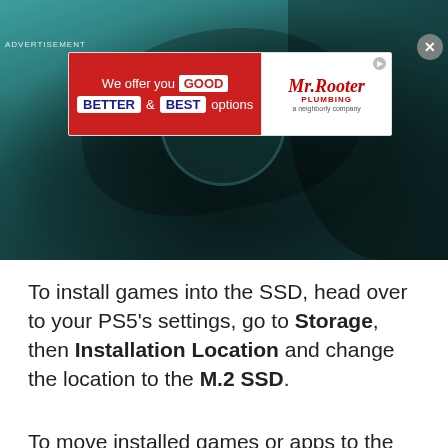[Figure (photo): Close-up photo of PS5 console hardware with dark teal/green overlay tint]
ADVERTISEMENT
[Figure (infographic): Mr. Rooter Plumbing advertisement banner: 'We offer you GOOD BETTER & BEST options' with Mr. Rooter logo]
To install games into the SSD, head over to your PS5's settings, go to Storage, then Installation Location and change the location to the M.2 SSD.
To move installed games or apps to the